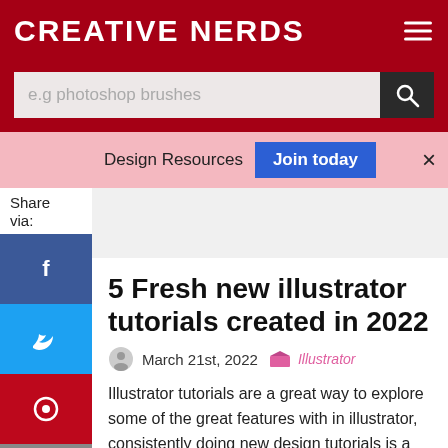CREATIVE NERDS
e.g photoshop brushes
Design Resources  Join today  ×
Share via:
5 Fresh new illustrator tutorials created in 2022
March 21st, 2022   Illustrator
Illustrator tutorials are a great way to explore some of the great features with in illustrator, consistently doing new design tutorials is a great way to keep